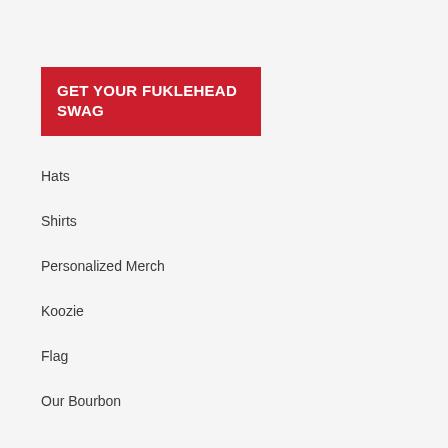GET YOUR FUKLEHEAD SWAG
Hats
Shirts
Personalized Merch
Koozie
Flag
Our Bourbon